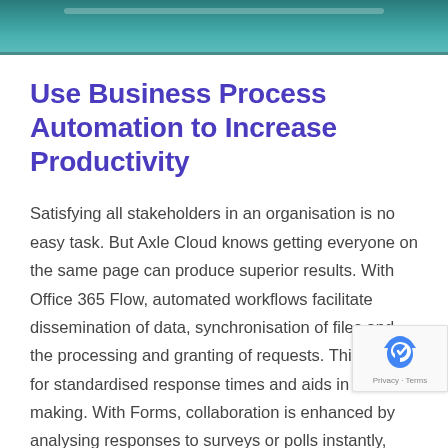[Figure (screenshot): Teal/green gradient banner image at the top of the page, appearing to be a cropped screenshot of a website header]
Use Business Process Automation to Increase Productivity
Satisfying all stakeholders in an organisation is no easy task. But Axle Cloud knows getting everyone on the same page can produce superior results. With Office 365 Flow, automated workflows facilitate dissemination of data, synchronisation of files and the processing and granting of requests. This allows for standardised response times and aids in decision making. With Forms, collaboration is enhanced by analysing responses to surveys or polls instantly, allowing for real-time input from remote individuals.